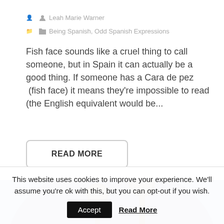Leah Marie Warner
Being Spanish, Odd Spanish Expressions
Fish face sounds like a cruel thing to call someone, but in Spain it can actually be a good thing. If someone has a Cara de pez  (fish face) it means they're impossible to read (the English equivalent would be...
READ MORE
[Figure (photo): A circular-cropped photo showing two ornamental spherical finials on poles against a blue sky, with a purple-blue semicircle background shape.]
This website uses cookies to improve your experience. We'll assume you're ok with this, but you can opt-out if you wish.
Accept   Read More